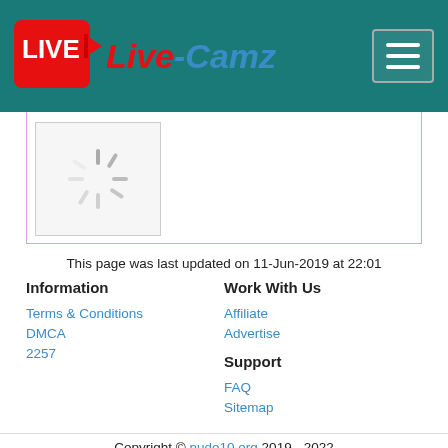Live-Camz
[Figure (screenshot): Loading spinner inside a bordered box with pink/purple border]
This page was last updated on 11-Jun-2019 at 22:01
Information
Terms & Conditions
DMCA
2257
Work With Us
Affiliate
Advertise
Support
FAQ
Sitemap
Copyright © nude10.org 2019 - 2022